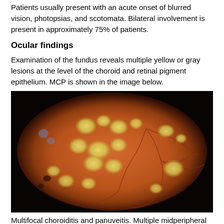Patients usually present with an acute onset of blurred vision, photopsias, and scotomata. Bilateral involvement is present in approximately 75% of patients.
Ocular findings
Examination of the fundus reveals multiple yellow or gray lesions at the level of the choroid and retinal pigment epithelium. MCP is shown in the image below.
[Figure (photo): Fundus photograph showing multifocal choroiditis and panuveitis with multiple yellow-white lesions scattered across the retina against an orange-red background.]
Multifocal choroiditis and panuveitis. Multiple midperipheral atrophic